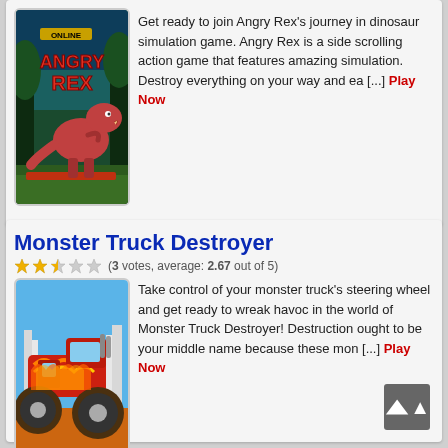[Figure (screenshot): Angry Rex game thumbnail: a red T-Rex dinosaur in a jungle setting with 'ONLINE ANGRY REX' title text]
Get ready to join Angry Rex's journey in dinosaur simulation game. Angry Rex is a side scrolling action game that features amazing simulation. Destroy everything on your way and ea [...] Play Now
Monster Truck Destroyer
(3 votes, average: 2.67 out of 5)
[Figure (screenshot): Monster Truck Destroyer game thumbnail: a red and orange monster truck with large wheels on an orange dirt background with city skyline]
Take control of your monster truck's steering wheel and get ready to wreak havoc in the world of Monster Truck Destroyer! Destruction ought to be your middle name because these mon [...] Play Now